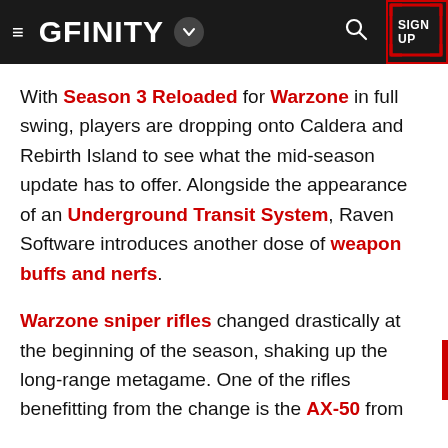GFINITY SIGN UP
With Season 3 Reloaded for Warzone in full swing, players are dropping onto Caldera and Rebirth Island to see what the mid-season update has to offer. Alongside the appearance of an Underground Transit System, Raven Software introduces another dose of weapon buffs and nerfs.
Warzone sniper rifles changed drastically at the beginning of the season, shaking up the long-range metagame. One of the rifles benefitting from the change is the AX-50 from